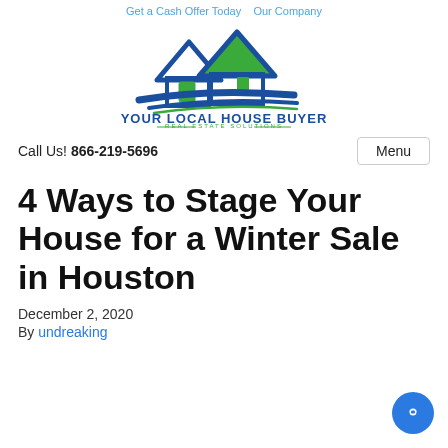Get a Cash Offer Today   Our Company
[Figure (logo): Your Local House Buyer Real Estate Solutions logo with blue and green house illustration]
Call Us! 866-219-5696
4 Ways to Stage Your House for a Winter Sale in Houston
December 2, 2020
By undreaking